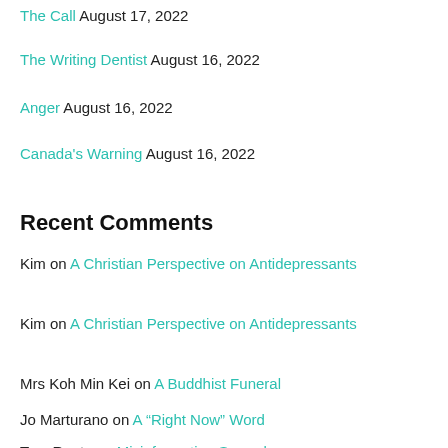The Call August 17, 2022
The Writing Dentist August 16, 2022
Anger August 16, 2022
Canada's Warning August 16, 2022
Recent Comments
Kim on A Christian Perspective on Antidepressants
Kim on A Christian Perspective on Antidepressants
Mrs Koh Min Kei on A Buddhist Funeral
Jo Marturano on A “Right Now” Word
Tom Roots on Misinformation Spreads